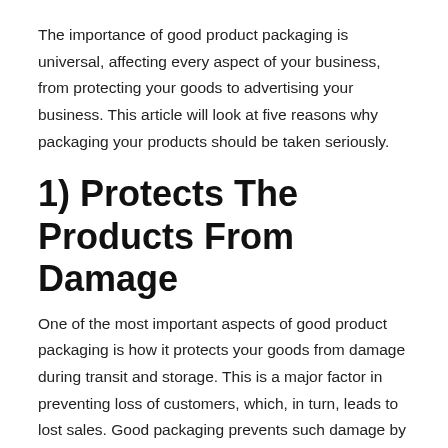The importance of good product packaging is universal, affecting every aspect of your business, from protecting your goods to advertising your business. This article will look at five reasons why packaging your products should be taken seriously.
1) Protects The Products From Damage
One of the most important aspects of good product packaging is how it protects your goods from damage during transit and storage. This is a major factor in preventing loss of customers, which, in turn, leads to lost sales. Good packaging prevents such damage by offering some form of protection to your goods while they're in transit.